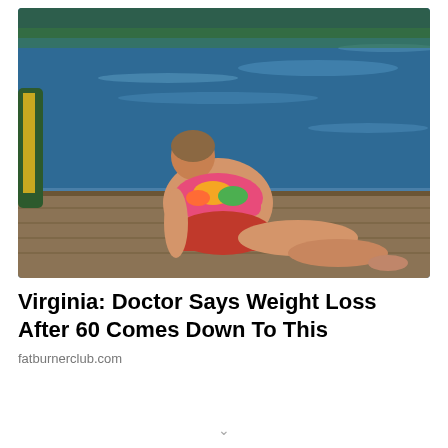[Figure (photo): A woman in a colorful bikini sitting on a wooden dock by a lake, viewed from the side, with blue water and trees in the background.]
Virginia: Doctor Says Weight Loss After 60 Comes Down To This
fatburnerclub.com